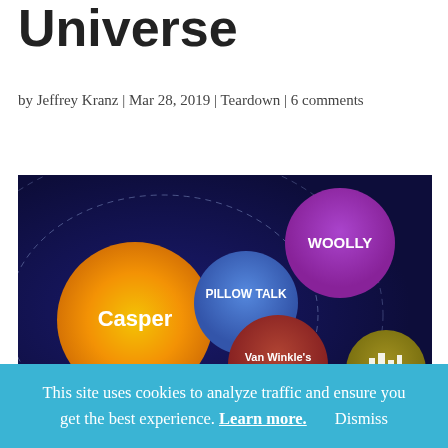Universe
by Jeffrey Kranz | Mar 28, 2019 | Teardown | 6 comments
[Figure (infographic): Bubble/orbit diagram showing Casper content media universe: a large orange circle labeled 'Casper', a medium blue circle labeled 'PILLOW TALK', a medium purple circle labeled 'WOOLLY', a medium dark-red circle labeled 'Van Winkle’s', and a smaller olive/gold circle labeled 'sleepopolis', all arranged on a dark navy-blue background with dashed orbit rings.]
This site uses cookies to analyze traffic and ensure you get the best experience. Learn more. Dismiss